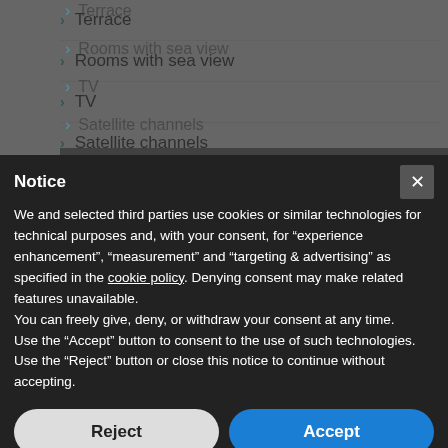Terrace
Rooms with sea view
TV
Satellite channels
Mini-bar
Hair dryer
Shower cabin
Notice
We and selected third parties use cookies or similar technologies for technical purposes and, with your consent, for "experience enhancement", "measurement" and "targeting & advertising" as specified in the cookie policy. Denying consent may make related features unavailable.
You can freely give, deny, or withdraw your consent at any time.
Use the "Accept" button to consent to the use of such technologies. Use the "Reject" button or close this notice to continue without accepting.
Reject
Accept
Learn more and customize